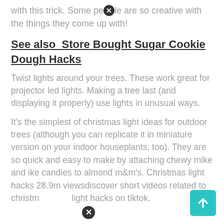with this trick. Some people are so creative with the things they come up with!
See also  Store Bought Sugar Cookie Dough Hacks
Twist lights around your trees. These work great for projector led lights. Making a tree last (and displaying it properly) use lights in unusual ways.
It's the simplest of christmas light ideas for outdoor trees (although you can replicate it in miniature version on your indoor houseplants, too). They are so quick and easy to make by attaching chewy mike and ike candies to almond m&m's. Christmas light hacks 28.9m viewsdiscover short videos related to christmas light hacks on tiktok.